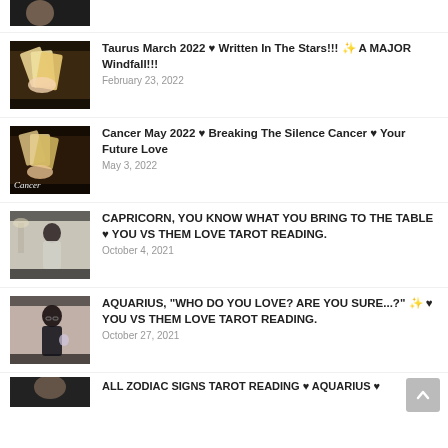[partial thumbnail at top]
Taurus March 2022 ♥ Written In The Stars!!! 🌟 A MAJOR Windfall!!!
February 23, 2022
Cancer May 2022 ♥ Breaking The Silence Cancer ♥ Your Future Love
May 3, 2022
CAPRICORN, YOU KNOW WHAT YOU BRING TO THE TABLE ♥ YOU VS THEM LOVE TAROT READING.
October 4, 2021
AQUARIUS, "WHO DO YOU LOVE? ARE YOU SURE...?" 🌟 ♥ YOU VS THEM LOVE TAROT READING.
October 27, 2021
[partial entry at bottom]